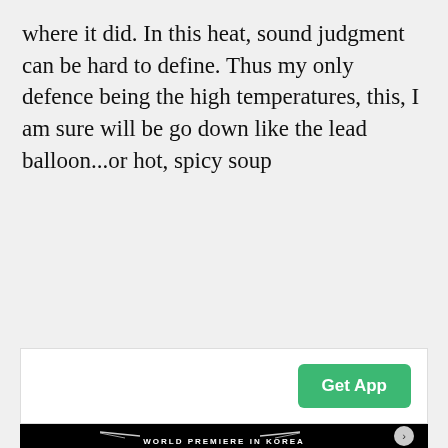where it did. In this heat, sound judgment can be hard to define. Thus my only defence being the high temperatures, this, I am sure will be go down like the lead balloon...or hot, spicy soup
[Figure (screenshot): App banner with a green 'Get App' button on the right side against a white background]
[Figure (photo): Dark photo of a car with intricate decorative patterns/engravings, headlights glowing, with text 'WORLD PREMIERE IN KOREA' at the bottom. A navigation arrow is visible on the right side.]